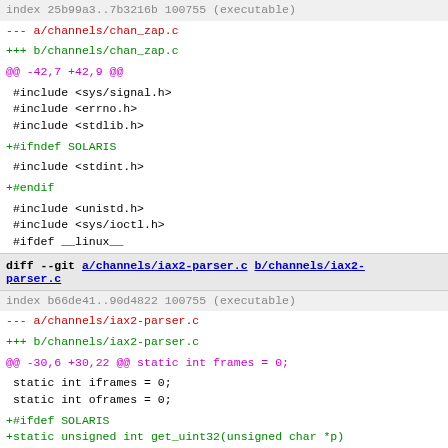index 25b99a3..7b3216b 100755 (executable)
--- a/channels/chan_zap.c
+++ b/channels/chan_zap.c
@@ -42,7 +42,9 @@
#include <sys/signal.h>
 #include <errno.h>
 #include <stdlib.h>
+#ifndef SOLARIS
#include <stdint.h>
+#endif
#include <unistd.h>
 #include <sys/ioctl.h>
 #ifdef __linux__
diff --git a/channels/iax2-parser.c b/channels/iax2-parser.c
index b66de41..90d4822 100755 (executable)
--- a/channels/iax2-parser.c
+++ b/channels/iax2-parser.c
@@ -30,6 +30,22 @@ static int frames = 0;
static int iframes = 0;
 static int oframes = 0;
+#ifdef SOLARIS
+static unsigned int get_uint32(unsigned char *p)
+{
+  return (p[0] << 24) | (p[1] << 16) | (p[2] << 8) | p[3];
+}
+
+static unsigned short get_uint16(unsigned char *p)
+{
+  return (p[0] << 8) | p[1];